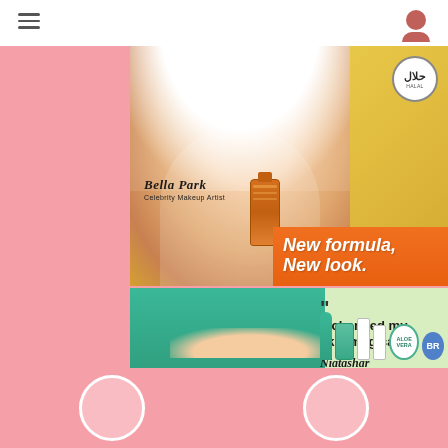Navigation bar with hamburger menu and user icon
[Figure (photo): Advertisement for cosmetic product featuring a woman in white hijab on gold background holding an orange lipstick/product. Text: 'Bella Park, Celebrity Makeup Artist' in cursive. Halal badge top right. Tagline: 'New formula, New look.' in orange box.]
[Figure (photo): Beauty product advertisement featuring a woman in teal/green hijab on light green background. Quote: '"It changed my skin magically."' with ambassador signature 'Niatasha' labeled AMBASSADOR. Green skincare products shown at bottom right.]
Bottom navigation with circular buttons